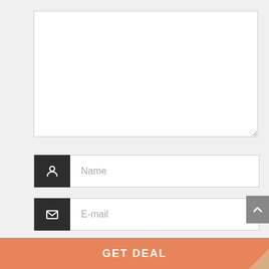[Figure (screenshot): A web form with a large text area (comment box), three input fields labeled Name, E-mail, and Website each with a dark icon box on the left, a scroll-to-top button on the right, and an orange GET DEAL button at the bottom.]
Name
E-mail
Website
GET DEAL